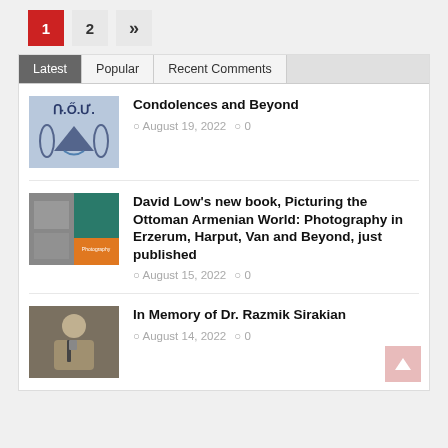1  2  »
Latest | Popular | Recent Comments
[Figure (logo): ROU organization logo with eagle and wreath on blue background]
Condolences and Beyond
August 19, 2022  0
[Figure (photo): Book cover for Picturing the Ottoman Armenian World, with historical photo and teal/orange design]
David Low's new book, Picturing the Ottoman Armenian World: Photography in Erzerum, Harput, Van and Beyond, just published
August 15, 2022  0
[Figure (photo): Black and white portrait photo of Dr. Razmik Sirakian at a desk]
In Memory of Dr. Razmik Sirakian
August 14, 2022  0